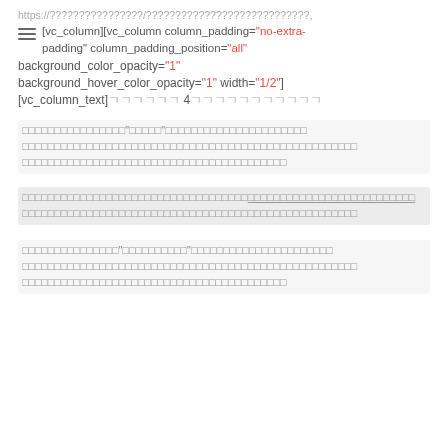https://... [vc_column][vc_column column_padding="no-extra-padding" column_padding_position="all"
background_color_opacity="1" background_hover_color_opacity="1" width="1/2"] [vc_column_text]????? 4???????????
?????????????????"?????"?????????????????????? ????????????????????????????????????????????????????????????????? ?????????????????????????????????????????
?????????????????????????????????????????????????????????????????????????????????????????????????? ???????????????????????????????????
???????????????????????????????????????????????????????????????????????????????????????????????????
?????????????????"??????????"?????????????????????? ????????????????????????????????????????????????????????????????? ???????????????????????????????????????????????????